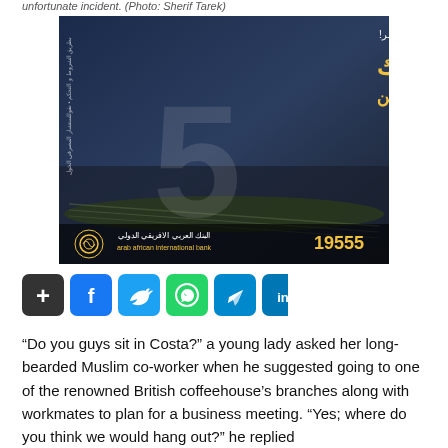unfortunate incident. (Photo: Sherif Tarek)
[Figure (photo): Advertisement for Arab African International Bank showing an industrial factory background with Arabic text and the number 5, promoting small business loans up to 5 million over 5 years. Contact number 19555 shown at bottom.]
[Figure (infographic): Row of social media share buttons: share (+), Facebook (f), Twitter bird, WhatsApp, Telegram, LinkedIn]
“Do you guys sit in Costa?” a young lady asked her long-bearded Muslim co-worker when he suggested going to one of the renowned British coffeehouse’s branches along with workmates to plan for a business meeting. “Yes; where do you think we would hang out?” he replied